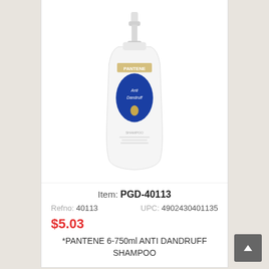[Figure (photo): Pantene Anti Dandruff Shampoo 750ml bottle with pump dispenser, white bottle with blue label]
Item: PGD-40113
Refno: 40113   UPC: 4902430401135
$5.03
*PANTENE 6-750ml ANTI DANDRUFF SHAMPOO